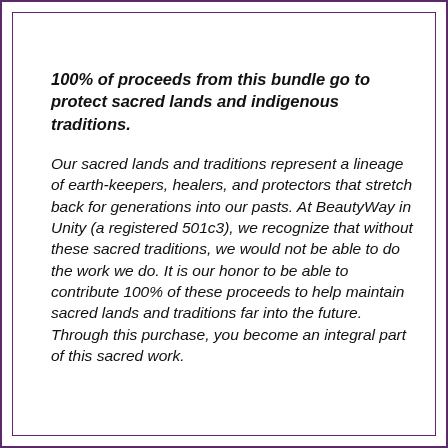100% of proceeds from this bundle go to protect sacred lands and indigenous traditions.
Our sacred lands and traditions represent a lineage of earth-keepers, healers, and protectors that stretch back for generations into our pasts. At BeautyWay in Unity (a registered 501c3), we recognize that without these sacred traditions, we would not be able to do the work we do. It is our honor to be able to contribute 100% of these proceeds to help maintain sacred lands and traditions far into the future. Through this purchase, you become an integral part of this sacred work.